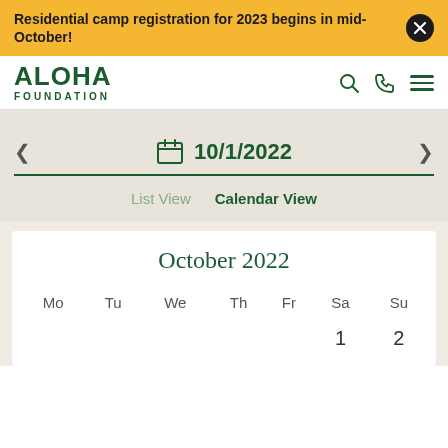Residential camp registration for 2023 begins in mid-October!
[Figure (logo): Aloha Foundation logo with search, phone, and menu icons]
10/1/2022
List View   Calendar View
October 2022
| Mo | Tu | We | Th | Fr | Sa | Su |
| --- | --- | --- | --- | --- | --- | --- |
|  |  |  |  |  | 1 | 2 |